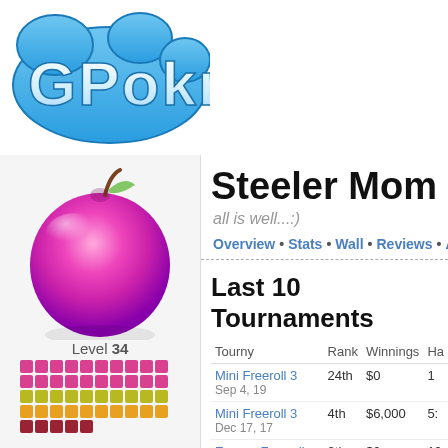[Figure (logo): GPokr logo — blue bubble-style text on white background]
[Figure (photo): Pink/magenta apple with stem on white background]
Level 34
[Figure (infographic): Grid of colored dots representing level progress: rows of pink/magenta, orange/yellow, dark red squares]
$123,718
to level 35
Steeler Mom
all is well...:)
Overview • Stats • Wall • Reviews • A
Last 10 Tournaments
| Tourny | Rank | Winnings | Ha |
| --- | --- | --- | --- |
| Mini Freeroll 3
Sep 4, 19 | 24th | $0 | 1 |
| Mini Freeroll 3
Dec 17, 17 | 4th | $6,000 | 5 |
| Europe Freeroll Finale
Aug 26, 14 | 8th | $0 | 19 |
| Mini Freeroll (truncated) |  | $ |  |